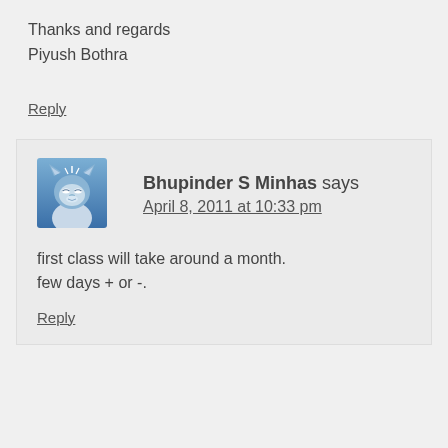Thanks and regards
Piyush Bothra
Reply
[Figure (illustration): Avatar icon showing a stylized blue raccoon/fox character]
Bhupinder S Minhas says
April 8, 2011 at 10:33 pm
first class will take around a month. few days + or -.
Reply